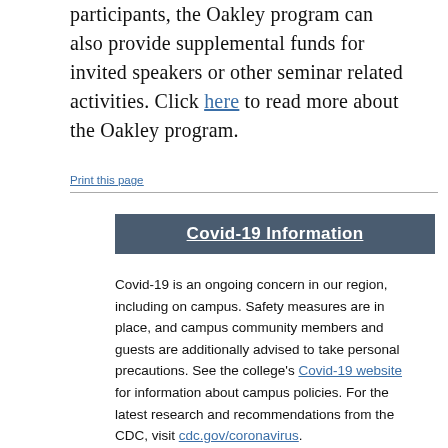participants, the Oakley program can also provide supplemental funds for invited speakers or other seminar related activities. Click here to read more about the Oakley program.
Print this page
Covid-19 Information
Covid-19 is an ongoing concern in our region, including on campus. Safety measures are in place, and campus community members and guests are additionally advised to take personal precautions. See the college's Covid-19 website for information about campus policies. For the latest research and recommendations from the CDC, visit cdc.gov/coronavirus.